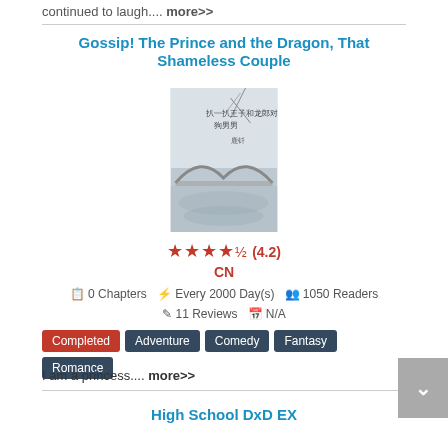continued to laugh.... more>>
Gossip! The Prince and the Dragon, That Shameless Couple
[Figure (photo): Book cover image with Chinese text and an arch bridge illustration in muted blue-gray tones]
★★★★½ (4.2)
CN
0 Chapters  Every 2000 Day(s)  1050 Readers  11 Reviews  N/A
Completed
Adventure
Comedy
Fantasy
Romance
I am a princess.... more>>
High School DxD EX